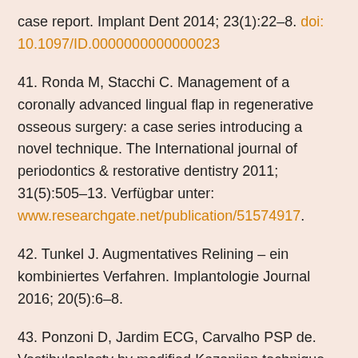case report. Implant Dent 2014; 23(1):22–8. doi: 10.1097/ID.0000000000000023
41. Ronda M, Stacchi C. Management of a coronally advanced lingual flap in regenerative osseous surgery: a case series introducing a novel technique. The International journal of periodontics & restorative dentistry 2011; 31(5):505–13. Verfügbar unter: www.researchgate.net/publication/51574917.
42. Tunkel J. Augmentatives Relining – ein kombiniertes Verfahren. Implantologie Journal 2016; 20(5):6–8.
43. Ponzoni D, Jardim ECG, Carvalho PSP de. Vestibuloplasty by modified Kazanjian technique